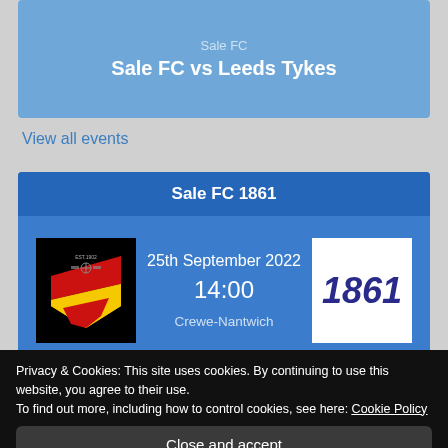Sale FC vs Leeds Tykes
View all events
Sale FC 1861
25th September 2022
14:00
Crewe-Nantwich
Privacy & Cookies: This site uses cookies. By continuing to use this website, you agree to their use.
To find out more, including how to control cookies, see here: Cookie Policy
Close and accept
14:00